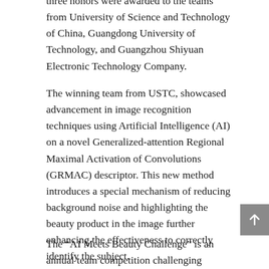three honors were awarded to the teams from University of Science and Technology of China, Guangdong University of Technology, and Guangzhou Shiyuan Electronic Technology Company.
The winning team from USTC, showcased advancement in image recognition techniques using Artificial Intelligence (AI) on a novel Generalized-attention Regional Maximal Activation of Convolutions (GRMAC) descriptor. This new method introduces a special mechanism of reducing background noise and highlighting the beauty product in the image further enhancing the effectiveness to correctly identify the subject.
The “AI Meets Beauty Challenge” is an annual team competition challenging innovative